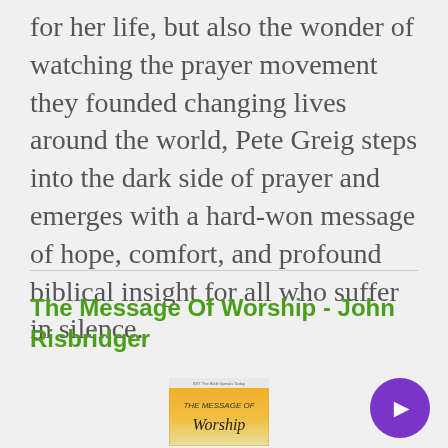for her life, but also the wonder of watching the prayer movement they founded changing lives around the world, Pete Greig steps into the dark side of prayer and emerges with a hard-won message of hope, comfort, and profound biblical insight for all who suffer in silence.
The Message Of Worship - John Risbridger
[Figure (illustration): Book cover of 'The Message Of Worship' showing an orange and yellow gradient cover with title text]